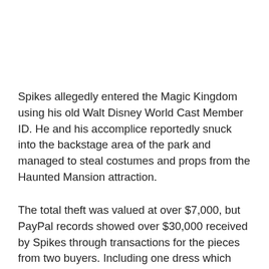Spikes allegedly entered the Magic Kingdom using his old Walt Disney World Cast Member ID. He and his accomplice reportedly snuck into the backstage area of the park and managed to steal costumes and props from the Haunted Mansion attraction.
The total theft was valued at over $7,000, but PayPal records showed over $30,000 received by Spikes through transactions for the pieces from two buyers. Including one dress which alone sold for over $1,000. The buyers were allegedly unaware that the items were stolen. Spikes also allegedly advertised his stock as pieces he owned, taken with Disney's permission.